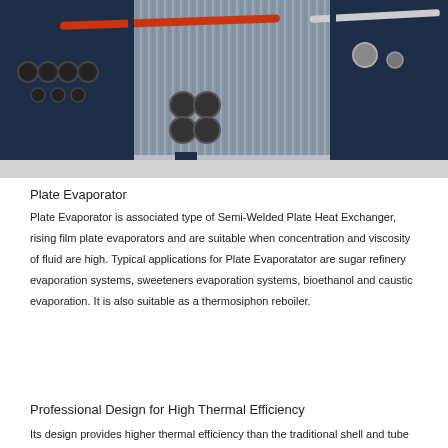[Figure (photo): Industrial plate heat exchanger / plate evaporator equipment in blue metal frames with circular port connections, corrugated plates visible, red and white pipe connections, on a factory floor.]
Plate Evaporator
Plate Evaporator is associated type of Semi-Welded Plate Heat Exchanger, rising film plate evaporators and are suitable when concentration and viscosity of fluid are high. Typical applications for Plate Evaporatator are sugar refinery evaporation systems, sweeteners evaporation systems, bioethanol and caustic evaporation. It is also suitable as a thermosiphon reboiler.
Professional Design for High Thermal Efficiency
Its design provides higher thermal efficiency than the traditional shell and tube...